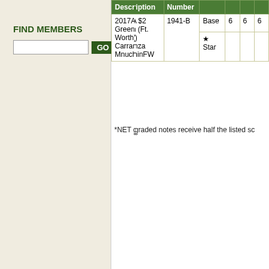FIND MEMBERS
| Description | Number |  |  |  |
| --- | --- | --- | --- | --- |
| 2017A $2 Green (Ft. Worth) Carranza MnuchinFW | 1941-B | Base | 6 | 6 | 6 |
|  |  | ★ Star |  |  |  |
*NET graded notes receive half the listed sc